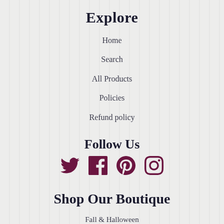Explore
Home
Search
All Products
Policies
Refund policy
Follow Us
[Figure (illustration): Social media icons: Twitter, Facebook, Pinterest, Instagram in dark purple/maroon color]
Shop Our Boutique
Fall & Halloween
New Arrivals